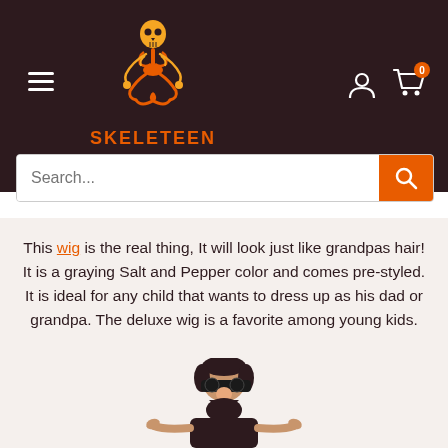[Figure (logo): Skeleteen logo: a meditating skeleton figure in orange/yellow with text SKELETEEN below in orange]
Search...
This wig is the real thing, It will look just like grandpas hair! It is a graying Salt and Pepper color and comes pre-styled. It is ideal for any child that wants to dress up as his dad or grandpa. The deluxe wig is a favorite among young kids.
[Figure (photo): A man wearing novelty Groucho Marx glasses with big nose and mustache, pointing fingers at himself, wearing a dark t-shirt, photographed from roughly waist up]